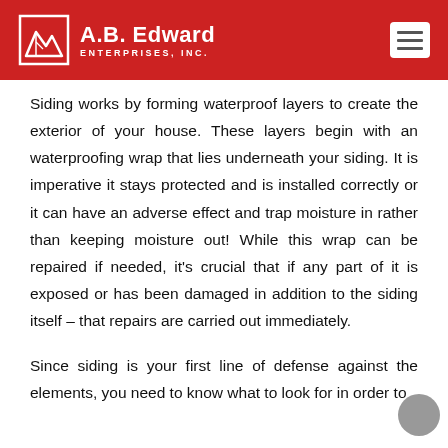A.B. Edward Enterprises, Inc.
Siding works by forming waterproof layers to create the exterior of your house. These layers begin with an waterproofing wrap that lies underneath your siding. It is imperative it stays protected and is installed correctly or it can have an adverse effect and trap moisture in rather than keeping moisture out! While this wrap can be repaired if needed, it's crucial that if any part of it is exposed or has been damaged in addition to the siding itself – that repairs are carried out immediately.
Since siding is your first line of defense against the elements, you need to know what to look for in order to